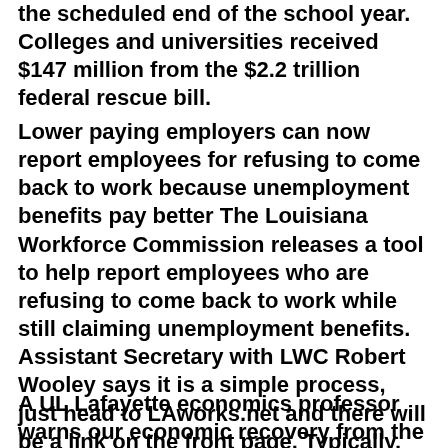the scheduled end of the school year. Colleges and universities received $147 million from the $2.2 trillion federal rescue bill.
Lower paying employers can now report employees for refusing to come back to work because unemployment benefits pay better The Louisiana Workforce Commission releases a tool to help report employees who are refusing to come back to work while still claiming unemployment benefits.  Assistant Secretary with LWC Robert Wooley says it is a simple process, just head to LAworks.net and there will be a link on the front page. Typically, someone would only be eligible for $247 in unemployment benefits each week, but an extra $600 in federal money makes it hard for some employers to compete, creating issues in luring staff back. Wooley says they've already received several hundred reports.
A UL Lafayette economics professor warns our economic recovery from the COVID recession could drag well into 2022.  Gary Wagner says if the